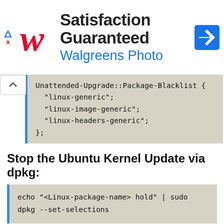[Figure (other): Walgreens Photo advertisement banner with logo, 'Satisfaction Guaranteed' title, 'Walgreens Photo' subtitle, and navigation arrow icon]
Unattended-Upgrade::Package-Blacklist {
  "linux-generic";
  "linux-image-generic";
  "linux-headers-generic";
};
Stop the Ubuntu Kernel Update via dpkg:
echo "<Linux-package-name> hold" | sudo dpkg --set-selections
Above syntax is conman for all packages to hold.
For Linux kernel replace the Linux-package-name with your Linux kernel image.